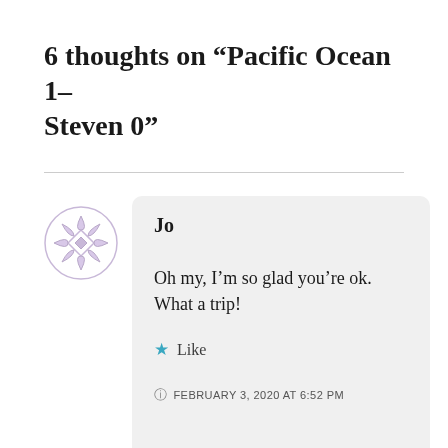6 thoughts on “Pacific Ocean 1–Steven 0”
Jo
Oh my, I’m so glad you’re ok. What a trip!
★ Like
FEBRUARY 3, 2020 AT 6:52 PM